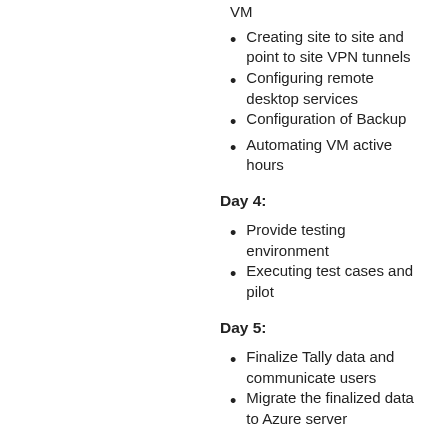VM
Creating site to site and point to site VPN tunnels
Configuring remote desktop services
Configuration of Backup
Automating VM active hours
Day 4:
Provide testing environment
Executing test cases and pilot
Day 5:
Finalize Tally data and communicate users
Migrate the finalized data to Azure server